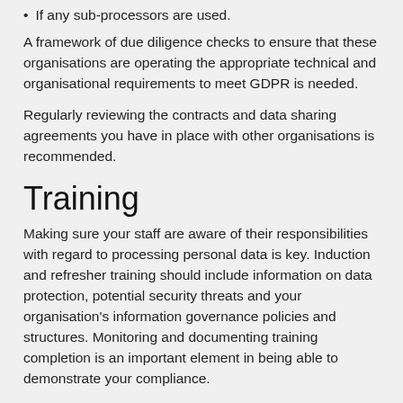If any sub-processors are used.
A framework of due diligence checks to ensure that these organisations are operating the appropriate technical and organisational requirements to meet GDPR is needed.
Regularly reviewing the contracts and data sharing agreements you have in place with other organisations is recommended.
Training
Making sure your staff are aware of their responsibilities with regard to processing personal data is key. Induction and refresher training should include information on data protection, potential security threats and your organisation’s information governance policies and structures. Monitoring and documenting training completion is an important element in being able to demonstrate your compliance.
Other laws and regulations
There are various other Acts and regulations in the UK which